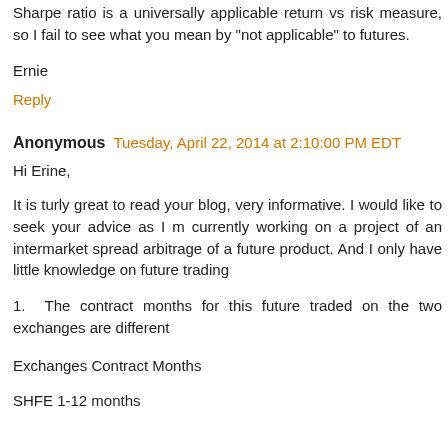Sharpe ratio is a universally applicable return vs risk measure, so I fail to see what you mean by "not applicable" to futures.
Ernie
Reply
Anonymous  Tuesday, April 22, 2014 at 2:10:00 PM EDT
Hi Erine,
It is turly great to read your blog, very informative. I would like to seek your advice as I m currently working on a project of an intermarket spread arbitrage of a future product. And I only have little knowledge on future trading
1.  The contract months for this future traded on the two exchanges are different
Exchanges Contract Months
SHFE 1-12 months